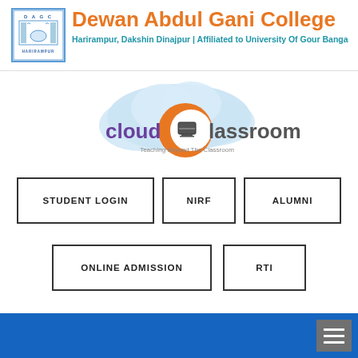[Figure (logo): DAGC Harirampur college emblem/logo in blue tones]
Dewan Abdul Gani College
Harirampur, Dakshin Dinajpur | Affiliated to University Of Gour Banga
[Figure (logo): Cloud Classroom logo - Teaching Beyond The Classroom]
STUDENT LOGIN
NIRF
ALUMNI
ONLINE ADMISSION
RTI